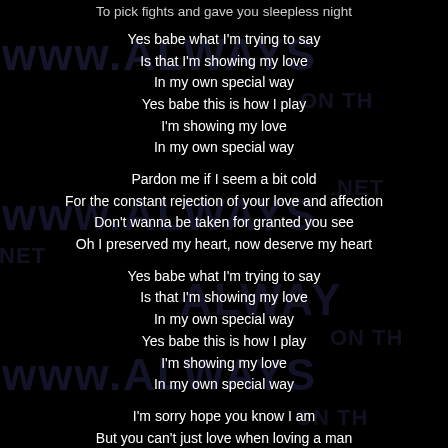To pick fights and gave you sleepless night
Yes babe what I'm trying to say
Is that I'm showing my love
In my own special way
Yes babe this is how I play
I'm showing my love
In my own special way
Pardon me if I seem a bit cold
For the constant rejection of your love and affection
Don't wanna be taken for granted you see
Oh I preserved my heart, now deserve my heart
Yes babe what I'm trying to say
Is that I'm showing my love
In my own special way
Yes babe this is how I play
I'm showing my love
In my own special way
I'm sorry hope you know I am
But you can't just love when loving a man
Yes babe what I'm trying to say
Is that I'm showing my love
In my own special way
Yes babe this is how I play
I'm showing my love